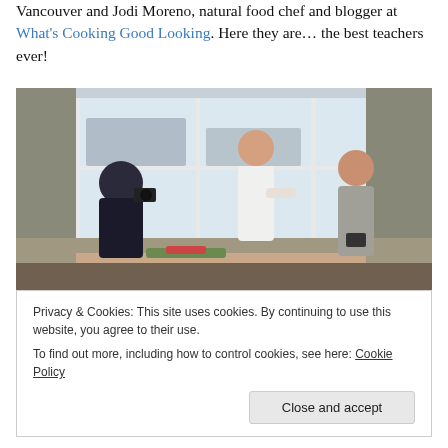Vancouver and Jodi Moreno, natural food chef and blogger at What's Cooking Good Looking. Here they are… the best teachers ever!
[Figure (photo): Three people in a bright studio room with large windows. A man on the left is photographing food on a table with a DSLR camera. In the center, a woman in a white top stands looking at the food. On the right, another woman in a grey cardigan holds a camera.]
Privacy & Cookies: This site uses cookies. By continuing to use this website, you agree to their use.
To find out more, including how to control cookies, see here: Cookie Policy